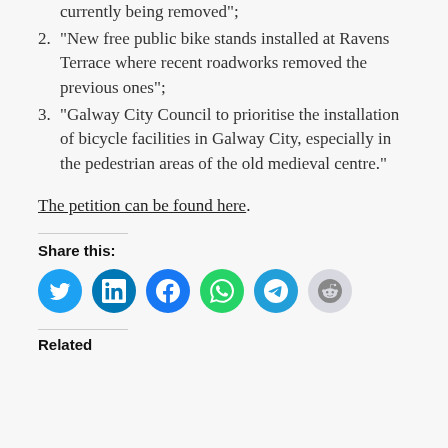currently being removed";
2. “New free public bike stands installed at Ravens Terrace where recent roadworks removed the previous ones”;
3. “Galway City Council to prioritise the installation of bicycle facilities in Galway City, especially in the pedestrian areas of the old medieval centre.”
The petition can be found here.
Share this:
[Figure (infographic): Row of social media share icons: Twitter (blue), LinkedIn (dark blue), Facebook (blue), WhatsApp (green), Telegram (blue), Reddit (light grey)]
Related